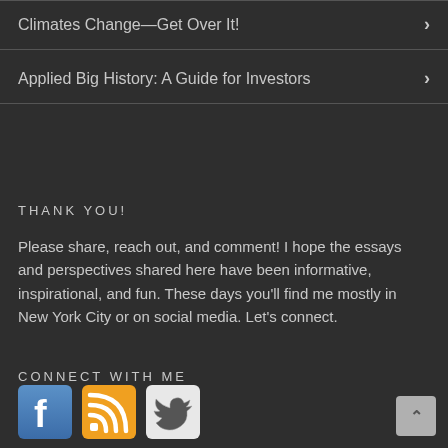Climates Change—Get Over It!
Applied Big History: A Guide for Investors
THANK YOU!
Please share, reach out, and comment! I hope the essays and perspectives shared here have been informative, inspirational, and fun. These days you'll find me mostly in New York City or on social media. Let's connect.
CONNECT WITH ME
[Figure (illustration): Three social media icons: Facebook (blue), RSS feed (orange), and Twitter/bird (white on light background)]